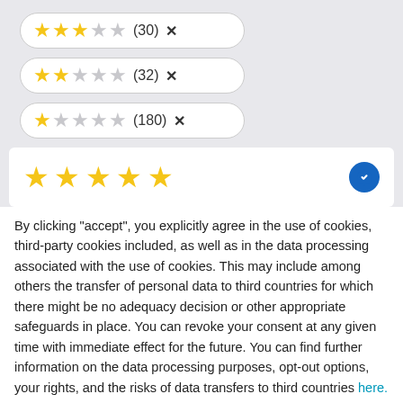[Figure (other): Star rating filter pill: 3 filled stars, 2 empty stars, count (30), X button]
[Figure (other): Star rating filter pill: 2 filled stars, 3 empty stars, count (32), X button]
[Figure (other): Star rating filter pill: 1 filled star, 4 empty stars, count (180), X button]
[Figure (other): Selected rating box showing 5 filled gold stars and a blue badge with checkmark]
By clicking "accept", you explicitly agree in the use of cookies, third-party cookies included, as well as in the data processing associated with the use of cookies. This may include among others the transfer of personal data to third countries for which there might be no adequacy decision or other appropriate safeguards in place. You can revoke your consent at any given time with immediate effect for the future. You can find further information on the data processing purposes, opt-out options, your rights, and the risks of data transfers to third countries here.
ACCEPT